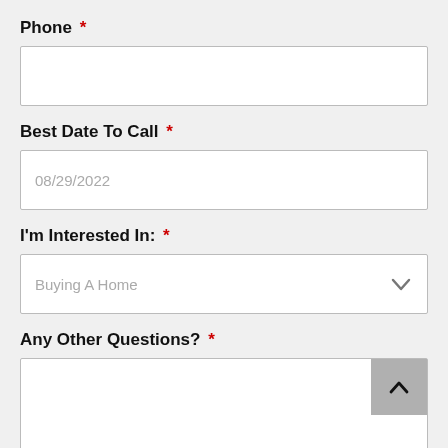Phone *
(empty input field)
Best Date To Call *
08/29/2022
I'm Interested In: *
Buying A Home
Any Other Questions? *
(empty textarea)